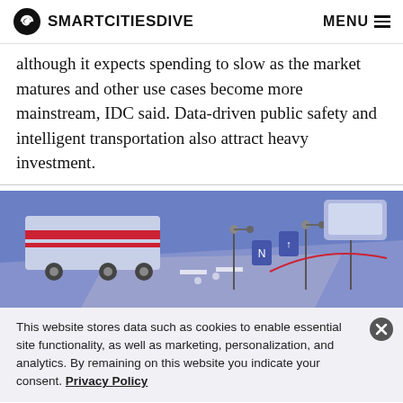SMARTCITIESDIVE  MENU
although it expects spending to slow as the market matures and other use cases become more mainstream, IDC said. Data-driven public safety and intelligent transportation also attract heavy investment.
[Figure (illustration): Isometric illustration of smart city transportation scene with a train, vehicles, traffic signs, and road sensors on a purple/blue background with red accent lines]
This website stores data such as cookies to enable essential site functionality, as well as marketing, personalization, and analytics. By remaining on this website you indicate your consent. Privacy Policy